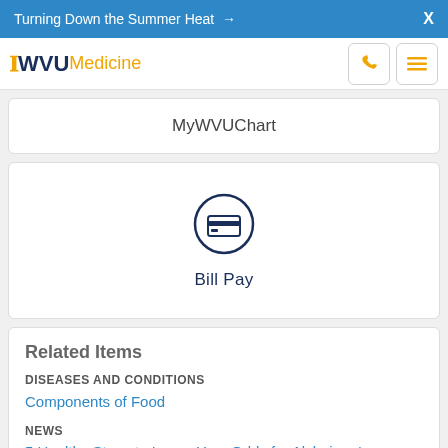Turning Down the Summer Heat →  X
[Figure (logo): WVU Medicine logo with phone and hamburger menu icons]
MyWVUChart
[Figure (illustration): Bill Pay icon: circle with credit card symbol inside]
Bill Pay
Related Items
DISEASES AND CONDITIONS
Components of Food
NEWS
5 Healthy Steps to Lower Your Odds for Alzheimer's